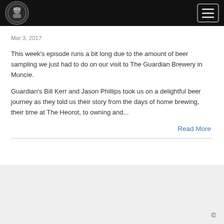Navigation header with logo and hamburger menu
Mar 3, 2017
This week's episode runs a bit long due to the amount of beer sampling we just had to do on our visit to The Guardian Brewery in Muncie.
Guardian's Bill Kerr and Jason Phillips took us on a delightful beer journey as they told us their story from the days of home brewing, their time at The Heorot, to owning and...
Read More
©